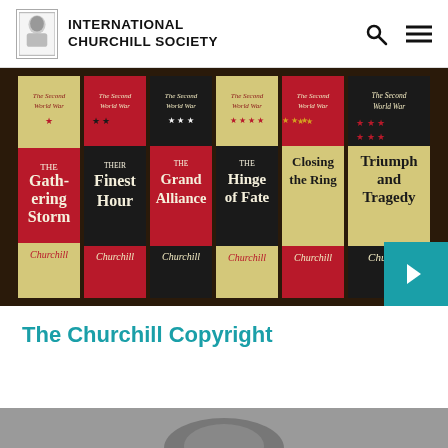INTERNATIONAL CHURCHILL SOCIETY
[Figure (photo): Six volumes of 'The Second World War' by Churchill displayed as book spines in alternating yellow, red, and black color schemes. Titles visible: The Gathering Storm, Their Finest Hour, The Grand Alliance, The Hinge of Fate, Closing the Ring, Triumph and Tragedy. Each spine has 'Churchill' at the bottom and stars indicating volume number.]
The Churchill Copyright